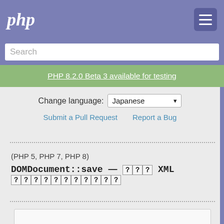php
Search
PHP 8.2.0 Beta 3 available for testing
Change language: Japanese
Submit a Pull Request   Report a Bug
(PHP 5, PHP 7, PHP 8)
DOMDocument::save — ??? XML ????????????